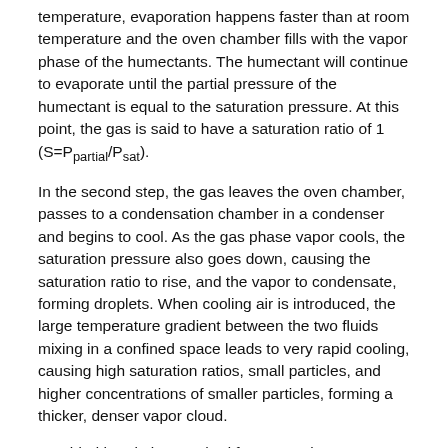temperature, evaporation happens faster than at room temperature and the oven chamber fills with the vapor phase of the humectants. The humectant will continue to evaporate until the partial pressure of the humectant is equal to the saturation pressure. At this point, the gas is said to have a saturation ratio of 1 (S=Ppartial/Psat).
In the second step, the gas leaves the oven chamber, passes to a condensation chamber in a condenser and begins to cool. As the gas phase vapor cools, the saturation pressure also goes down, causing the saturation ratio to rise, and the vapor to condensate, forming droplets. When cooling air is introduced, the large temperature gradient between the two fluids mixing in a confined space leads to very rapid cooling, causing high saturation ratios, small particles, and higher concentrations of smaller particles, forming a thicker, denser vapor cloud.
Provided herein is a method for generating an inhalable aerosol comprising: a vaporization device having a body with a mouthpiece at one end, and an attached body at the other end comprising; a condenser with a condensation